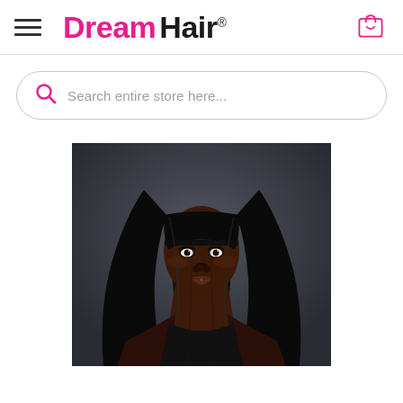[Figure (logo): Dream Hair logo with pink 'Dream' text and black 'Hair' text with registered trademark symbol, hamburger menu icon on left, shopping bag icon on right]
[Figure (other): Search bar with pink magnifying glass icon and placeholder text 'Search entire store here...']
[Figure (photo): Professional photo of a young Black woman with long straight black hair with blunt bangs, wearing dark clothing, against a dark grey studio background]